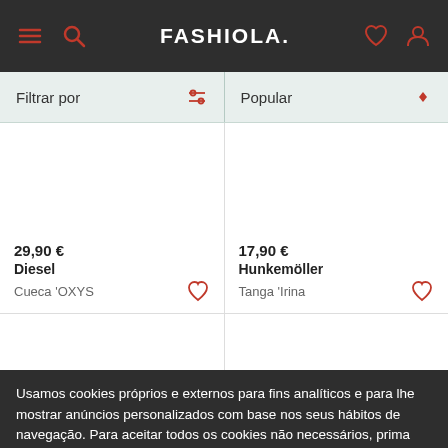FASHIOLA.
Filtrar por
Popular
29,90 €
Diesel
Cueca 'OXYS
17,90 €
Hunkemöller
Tanga 'Irina
Usamos cookies próprios e externos para fins analíticos e para lhe mostrar anúncios personalizados com base nos seus hábitos de navegação. Para aceitar todos os cookies não necessários, prima "Aceitar". Para rejeitá-los, basta não selecionar esta opção.
Saiba mais
Aceitar